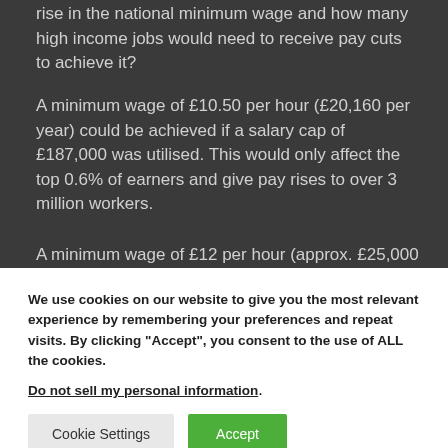rise in the national minimum wage and how many high income jobs would need to receive pay cuts to achieve it?
A minimum wage of £10.50 per hour (£20,160 per year) could be achieved if a salary cap of £187,000 was utilised. This would only affect the top 0.6% of earners and give pay rises to over 3 million workers.
A minimum wage of £12 per hour (approx. £25,000
We use cookies on our website to give you the most relevant experience by remembering your preferences and repeat visits. By clicking "Accept", you consent to the use of ALL the cookies.
Do not sell my personal information.